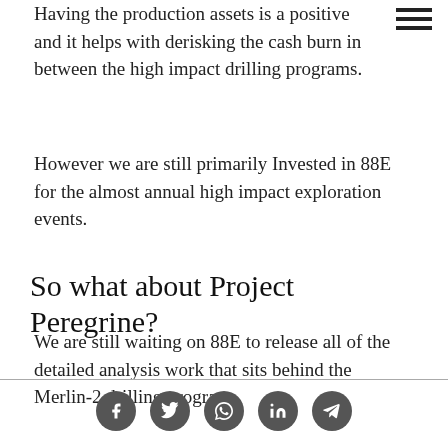Having the production assets is a positive and it helps with derisking the cash burn in between the high impact drilling programs.
However we are still primarily Invested in 88E for the almost annual high impact exploration events.
So what about Project Peregrine?
We are still waiting on 88E to release all of the detailed analysis work that sits behind the Merlin-2 drilling program.
[social icons: Facebook, Twitter, WhatsApp, LinkedIn, Telegram]